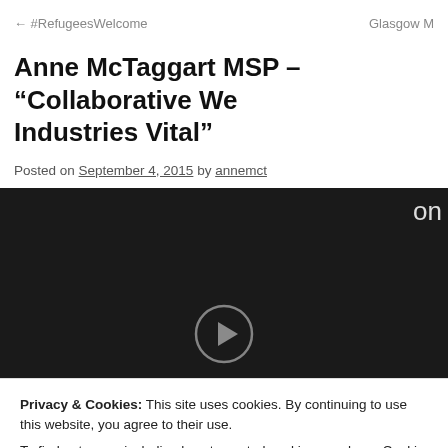← #RefugeesWelcome    Glasgow M
Anne McTaggart MSP – “Collaborative We… Industries Vital”
Posted on September 4, 2015 by annemct
[Figure (screenshot): Dark video thumbnail with a play button circle partially visible at bottom center and partial text 'on' on right side]
Privacy & Cookies: This site uses cookies. By continuing to use this website, you agree to their use.
To find out more, including how to control cookies, see here: Cookie Policy
Close and accept